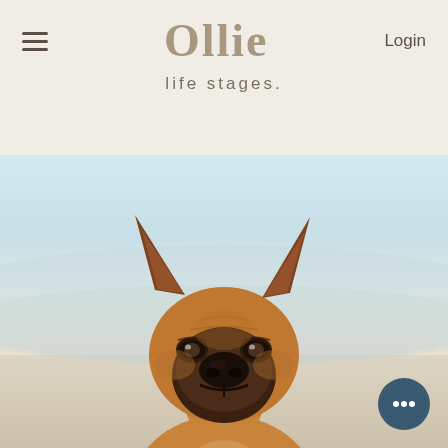Ollie
Login
life stages.
[Figure (photo): A French Bulldog puppy sitting upright, looking at the camera, with a blurred beach/ocean background in soft blue and beige tones.]
[Figure (illustration): Dark teal circular chat/message button icon in the bottom right corner.]